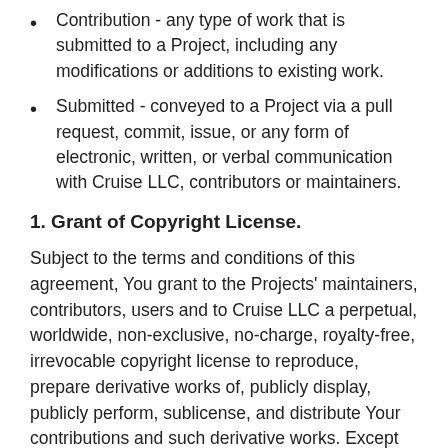Contribution - any type of work that is submitted to a Project, including any modifications or additions to existing work.
Submitted - conveyed to a Project via a pull request, commit, issue, or any form of electronic, written, or verbal communication with Cruise LLC, contributors or maintainers.
1. Grant of Copyright License.
Subject to the terms and conditions of this agreement, You grant to the Projects' maintainers, contributors, users and to Cruise LLC a perpetual, worldwide, non-exclusive, no-charge, royalty-free, irrevocable copyright license to reproduce, prepare derivative works of, publicly display, publicly perform, sublicense, and distribute Your contributions and such derivative works. Except for this license, You reserve all rights, title, and interest in your contributions.